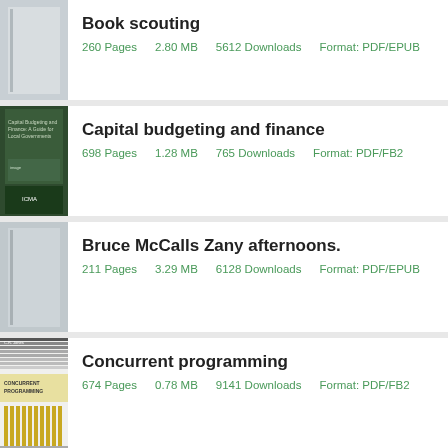Book scouting
260 Pages    2.80 MB    5612 Downloads    Format: PDF/EPUB
Capital budgeting and finance
698 Pages    1.28 MB    765 Downloads    Format: PDF/FB2
Bruce McCalls Zany afternoons.
211 Pages    3.29 MB    6128 Downloads    Format: PDF/EPUB
Concurrent programming
674 Pages    0.78 MB    9141 Downloads    Format: PDF/FB2